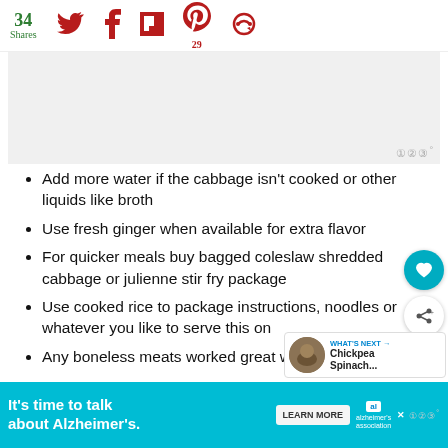34 Shares | Social share icons: Twitter, Facebook, Flipboard, Pinterest (29), SMS
[Figure (other): Advertisement placeholder image, light gray background with Mediavine badge]
Add more water if the cabbage isn't cooked or other liquids like broth
Use fresh ginger when available for extra flavor
For quicker meals buy bagged coleslaw shredded cabbage or julienne stir fry package
Use cooked rice to package instructions, noodles or whatever you like to serve this on
Any boneless meats worked great with this
[Figure (other): What's Next widget showing Chickpea Spinach... article with circular thumbnail]
[Figure (other): Bottom advertisement banner: It's time to talk about Alzheimer's. Learn More button, Alzheimer's association logo]